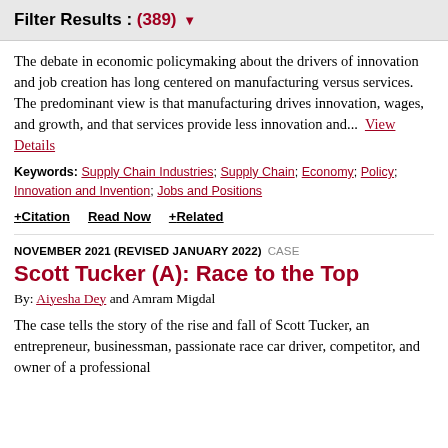Filter Results : (389) ▼
The debate in economic policymaking about the drivers of innovation and job creation has long centered on manufacturing versus services. The predominant view is that manufacturing drives innovation, wages, and growth, and that services provide less innovation and...  View Details
Keywords: Supply Chain Industries; Supply Chain; Economy; Policy; Innovation and Invention; Jobs and Positions
+ Citation   Read Now   + Related
NOVEMBER 2021 (REVISED JANUARY 2022)   CASE
Scott Tucker (A): Race to the Top
By: Aiyesha Dey and Amram Migdal
The case tells the story of the rise and fall of Scott Tucker, an entrepreneur, businessman, passionate race car driver, competitor, and owner of a professional